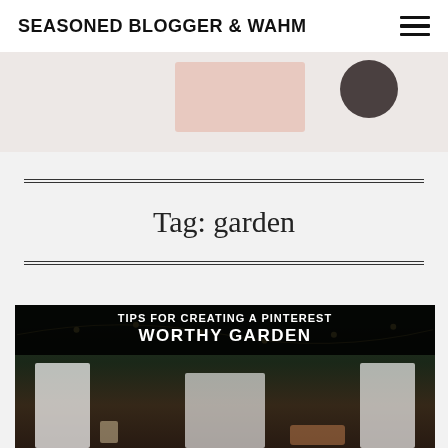SEASONED BLOGGER & WAHM
[Figure (photo): Partial view of a blog header image showing a pink rectangle and dark circle on a light background]
Tag: garden
[Figure (photo): Blog post thumbnail image showing an outdoor garden setting with white drape curtains, string lights, and candles at night. Overlay text reads: TIPS FOR CREATING A PINTEREST WORTHY GARDEN]